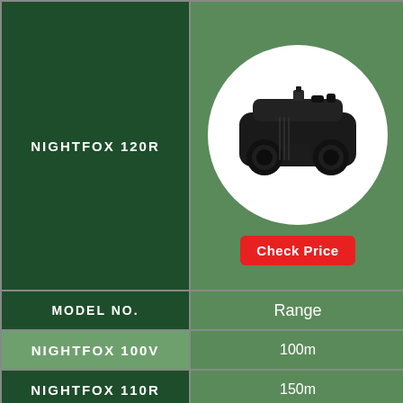NIGHTFOX 120R
[Figure (photo): Nightfox 120R night vision binocular device shown in white circle on green background with Check Price button]
| MODEL NO. | Range |
| --- | --- |
| NIGHTFOX 100V | 100m |
| NIGHTFOX 110R | 150m |
| NIGHTFOX 120R | 150m |